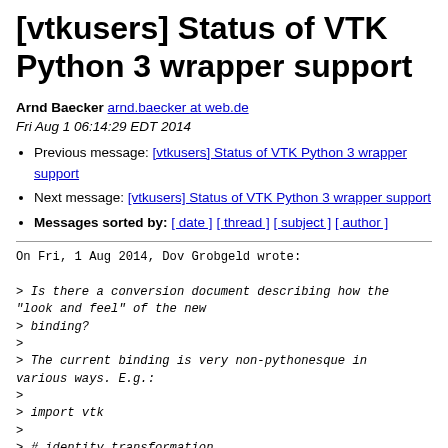[vtkusers] Status of VTK Python 3 wrapper support
Arnd Baecker arnd.baecker at web.de
Fri Aug 1 06:14:29 EDT 2014
Previous message: [vtkusers] Status of VTK Python 3 wrapper support
Next message: [vtkusers] Status of VTK Python 3 wrapper support
Messages sorted by: [ date ] [ thread ] [ subject ] [ author ]
On Fri, 1 Aug 2014, Dov Grobgeld wrote:

> Is there a conversion document describing how the "look and feel" of the new
> binding?
>
> The current binding is very non-pythonesque in various ways. E.g.:
>
> import vtk
>
> # identity_transformation